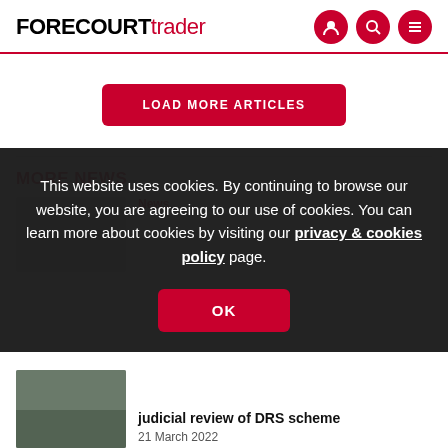FORECOURTtrader
LOAD MORE ARTICLES
MORE NEWS
News
This website uses cookies. By continuing to browse our website, you are agreeing to our use of cookies. You can learn more about cookies by visiting our privacy & cookies policy page.
OK
judicial review of DRS scheme
21 March 2022